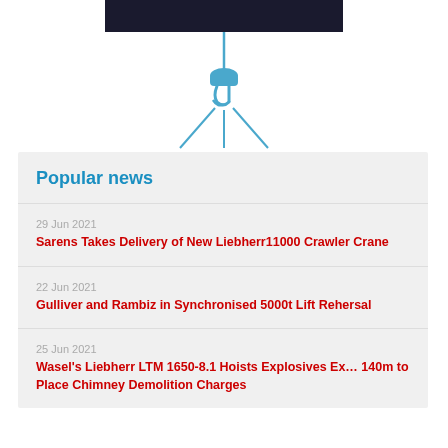[Figure (illustration): Crane hook and rigging illustration in blue on white background, with a dark banner at top]
Popular news
29 Jun 2021
Sarens Takes Delivery of New Liebherr11000 Crawler Crane
22 Jun 2021
Gulliver and Rambiz in Synchronised 5000t Lift Rehersal
25 Jun 2021
Wasel's Liebherr LTM 1650-8.1 Hoists Explosives Ex... 140m to Place Chimney Demolition Charges